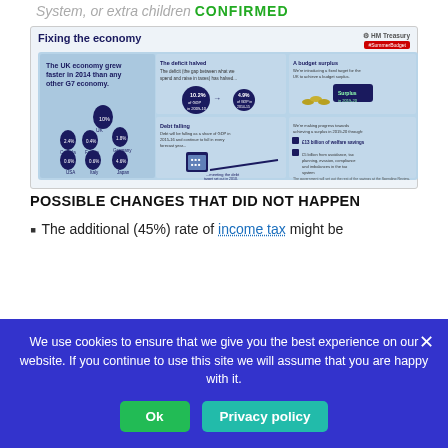System, or extra children CONFIRMED
[Figure (infographic): HM Treasury 'Fixing the economy' infographic showing UK economy growth, deficit halved from 10.2% of GDP in 2009-10 to 4.9% of GDP in 2014-15, debt falling, and budget surplus target for 2019-20 with welfare savings of £13 billion and £5 billion from avoidance, tax planning, evasion, compliance and imbalances in the tax system.]
POSSIBLE CHANGES THAT DID NOT HAPPEN
The additional (45%) rate of income tax might be
We use cookies to ensure that we give you the best experience on our website. If you continue to use this site we will assume that you are happy with it.